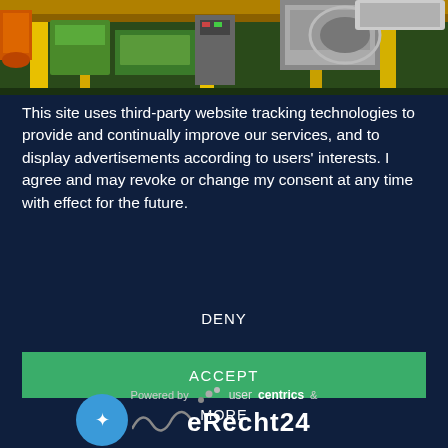[Figure (photo): Industrial machinery photo showing yellow structural frames, green equipment, and mechanical components in a factory setting]
This site uses third-party website tracking technologies to provide and continually improve our services, and to display advertisements according to users' interests. I agree and may revoke or change my consent at any time with effect for the future.
DENY
ACCEPT
MORE
Powered by  usercentrics  &  eRecht24